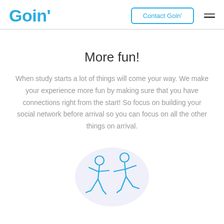Goin'  Contact Goin'  ☰
More fun!
When study starts a lot of things will come your way. We make your experience more fun by making sure that you have connections right from the start! So focus on building your social network before arrival so you can focus on all the other things on arrival.
[Figure (illustration): Two people dancing/running figures drawn as cyan line art on a light purple circular background]